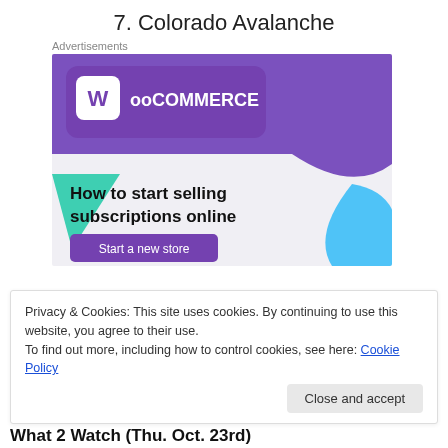7. Colorado Avalanche
Advertisements
[Figure (illustration): WooCommerce advertisement banner with purple header, WooCommerce logo, teal and blue decorative shapes, text 'How to start selling subscriptions online', and a 'Start a new store' button.]
Privacy & Cookies: This site uses cookies. By continuing to use this website, you agree to their use.
To find out more, including how to control cookies, see here: Cookie Policy
Close and accept
What 2 Watch (Thu. Oct. 23rd)